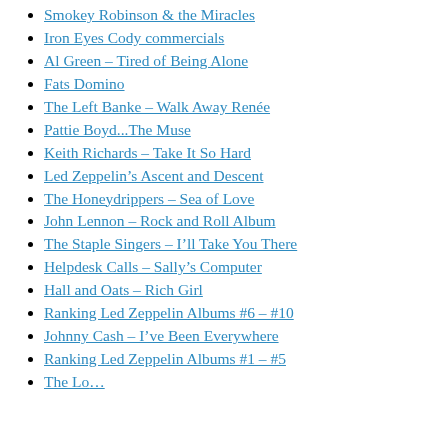Smokey Robinson & the Miracles
Iron Eyes Cody commercials
Al Green – Tired of Being Alone
Fats Domino
The Left Banke – Walk Away Renée
Pattie Boyd...The Muse
Keith Richards – Take It So Hard
Led Zeppelin's Ascent and Descent
The Honeydrippers – Sea of Love
John Lennon – Rock and Roll Album
The Staple Singers – I'll Take You There
Helpdesk Calls – Sally's Computer
Hall and Oats – Rich Girl
Ranking Led Zeppelin Albums #6 – #10
Johnny Cash – I've Been Everywhere
Ranking Led Zeppelin Albums #1 – #5
The Locomotive — Randy Cat Band…